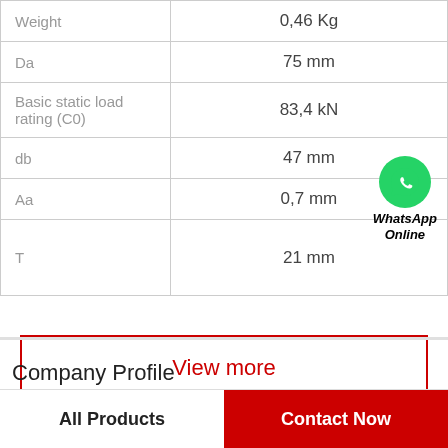| Property | Value |
| --- | --- |
| Weight | 0,46 Kg |
| Da | 75 mm |
| Basic static load rating (C0) | 83,4 kN |
| db | 47 mm |
| Aa | 0,7 mm |
| T | 21 mm |
View more
Company Profile
All Products
Contact Now